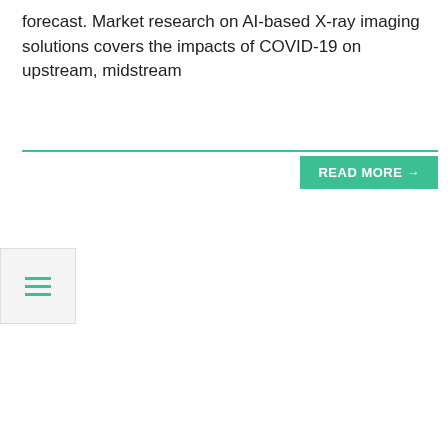forecast. Market research on AI-based X-ray imaging solutions covers the impacts of COVID-19 on upstream, midstream
[Figure (other): READ MORE → button with teal/green background and a horizontal teal divider line]
[Figure (other): Hamburger menu icon (three horizontal teal lines) in a light grey box]